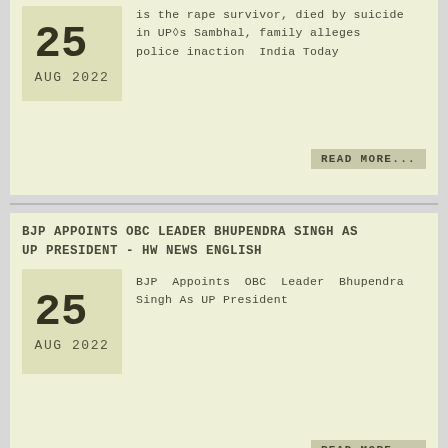25 AUG 2022
is the rape survivor, died by suicide in UP's Sambhal, family alleges police inaction  India Today
READ MORE...
BJP APPOINTS OBC LEADER BHUPENDRA SINGH AS UP PRESIDENT - HW NEWS ENGLISH
25 AUG 2022
BJP Appoints OBC Leader Bhupendra Singh As UP President
READ MORE...
UTTAR PRADESH CABINET MINISTER AND JAT LEADER BHUPENDRA CHAUDHARY APPOINTED STATE BJP